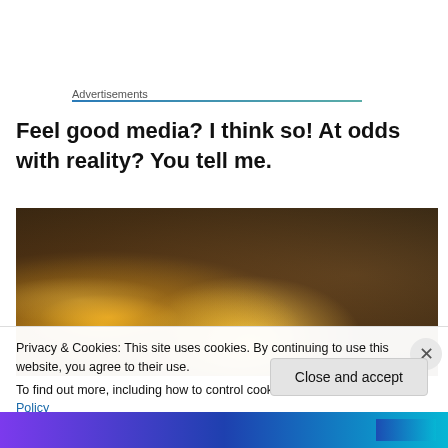Advertisements
Feel good media? I think so! At odds with reality? You tell me.
[Figure (photo): Dark nighttime street scene photograph with warm orange and yellow lights visible, likely showing traffic or city infrastructure at night]
Privacy & Cookies: This site uses cookies. By continuing to use this website, you agree to their use.
To find out more, including how to control cookies, see here: Cookie Policy
Close and accept